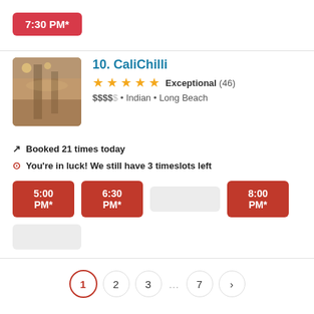7:30 PM*
[Figure (screenshot): Restaurant interior photo for CaliChilli]
10. CaliChilli
Exceptional (46)
$$$$$ • Indian • Long Beach
Booked 21 times today
You're in luck! We still have 3 timeslots left
5:00 PM*
6:30 PM*
8:00 PM*
1 2 3 … 7 ›